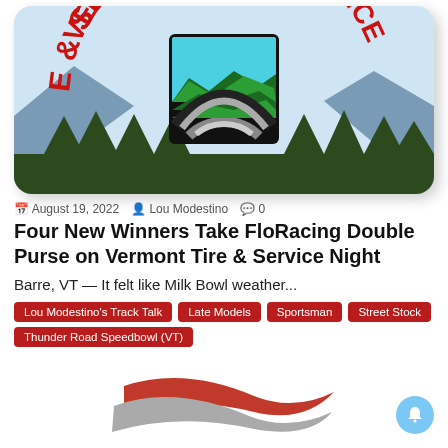[Figure (logo): Vermont Tire & Service logo — red bold text arc at top on light blue background with mountains and trees, centered square icon showing tire arch over green mountain landscape]
August 19, 2022   Lou Modestino   0
Four New Winners Take FloRacing Double Purse on Vermont Tire & Service Night
Barre, VT — It felt like Milk Bowl weather...
Lou Modestino's Track Talk
Late Models
Sportsman
Street Stock
Thunder Road Speedbowl (VT)
[Figure (logo): FloRacing stylized swoosh logo in red and grey at the bottom of the page]